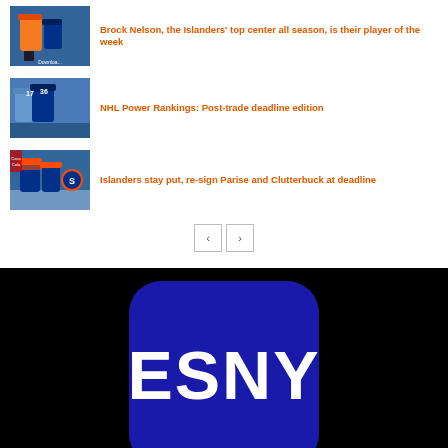Brock Nelson, the Islanders' top center all season, is their player of the week
[Figure (photo): Hockey players photo thumbnail for first article]
NHL Power Rankings: Post-trade deadline edition
[Figure (photo): Hockey players photo thumbnail for second article]
Islanders stay put, re-sign Parise and Clutterbuck at deadline
[Figure (photo): Hockey players photo thumbnail for third article]
[Figure (logo): ESNY app logo on black background]